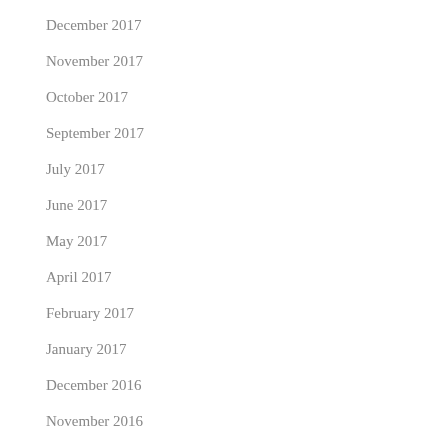December 2017
November 2017
October 2017
September 2017
July 2017
June 2017
May 2017
April 2017
February 2017
January 2017
December 2016
November 2016
October 2016